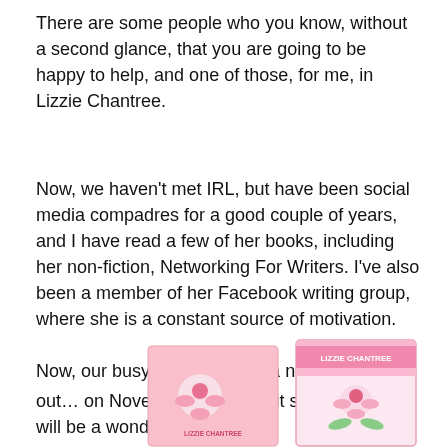There are some people who you know, without a second glance, that you are going to be happy to help, and one of those, for me, in Lizzie Chantree.
Now, we haven't met IRL, but have been social media compadres for a good couple of years, and I have read a few of her books, including her non-fiction, Networking For Writers. I've also been a member of her Facebook writing group, where she is a constant source of motivation.
Now, our busy Lizzie has got a new release out… on November 23rd, and it sounds like it will be a wonderful read!
[Figure (photo): Two book covers by Lizzie Chantree shown at the bottom of the page, partially cut off. Left book shows a partial cover with pink/floral design. Right book shows 'LIZZIE CHANTREE' text on a pink/floral cover.]